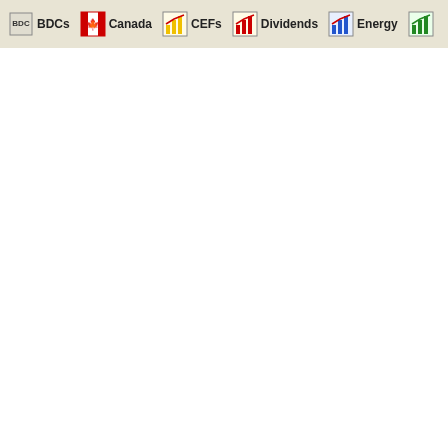BDCs | Canada | CEFs | Dividends | Energy
Top 10 Analys...
Top 10 Analys...
Top 10 Analys...
Top 10 Analys...
Best Dividend...
Best High Div...
Top Dividend...
Best High Yie...
Top Dividend...
Top High Divi...
The Top 10 D...
The Dividend...
10 Canadian ...
10 Oversold C...
10 Canadian ...
10 Must-Kno...
10 Top Divide...
10 Must-Kno...
10 Canadian ...
10 Canadian ...
10 Canadian ...
Stock market...
ADVERTISING O...